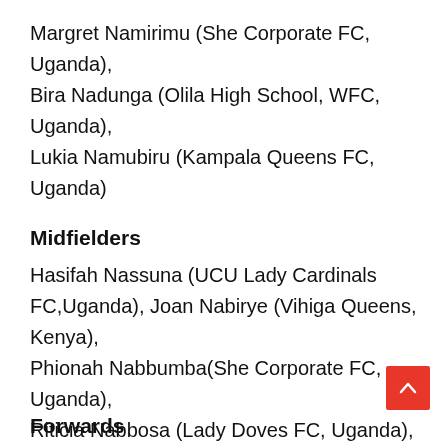Margret Namirimu (She Corporate FC, Uganda), Bira Nadunga (Olila High School, WFC, Uganda), Lukia Namubiru (Kampala Queens FC, Uganda)
Midfielders
Hasifah Nassuna (UCU Lady Cardinals FC,Uganda), Joan Nabirye (Vihiga Queens, Kenya), Phionah Nabbumba(She Corporate FC, Uganda), Riticia Nabbosa (Lady Doves FC, Uganda), Shamirah Nalugya (Kampala Queens, Uganda), Sheeba Zalwango (FC Amani, DR Congo), Tracy Jones Akiror (AFC Ann Arbor)
Forwards